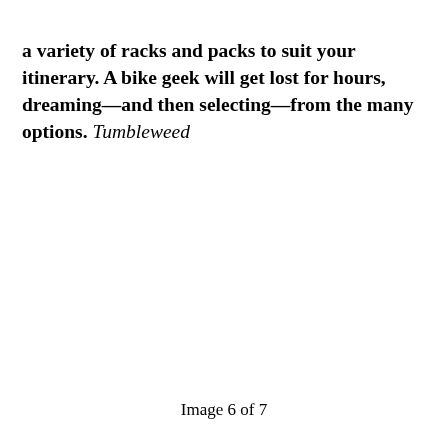a variety of racks and packs to suit your itinerary. A bike geek will get lost for hours, dreaming—and then selecting—from the many options. Tumbleweed
Image 6 of 7